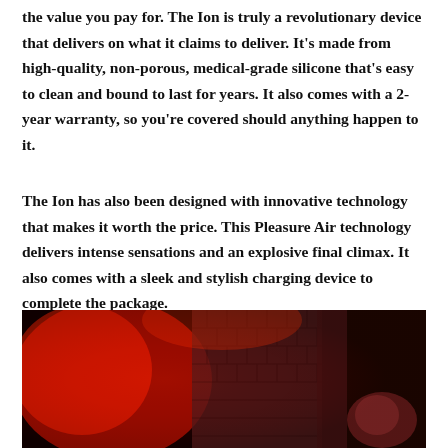the value you pay for. The Ion is truly a revolutionary device that delivers on what it claims to deliver. It's made from high-quality, non-porous, medical-grade silicone that's easy to clean and bound to last for years. It also comes with a 2-year warranty, so you're covered should anything happen to it.
The Ion has also been designed with innovative technology that makes it worth the price. This Pleasure Air technology delivers intense sensations and an explosive final climax. It also comes with a sleek and stylish charging device to complete the package.
[Figure (photo): A dark, red-lit atmospheric photo showing a person's face illuminated by red light, with a brick wall visible in the background, creating a moody, dramatic aesthetic.]